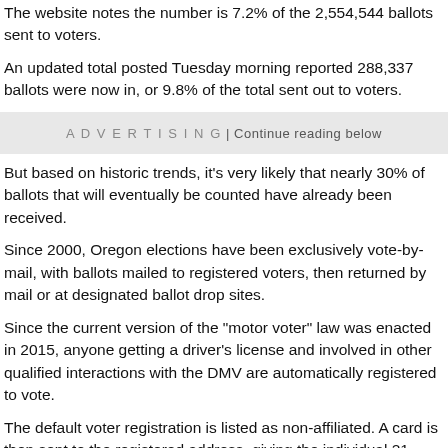The website notes the number is 7.2% of the 2,554,544 ballots sent to voters.
An updated total posted Tuesday morning reported 288,337 ballots were now in, or 9.8% of the total sent out to voters.
ADVERTISING | Continue reading below
But based on historic trends, it's very likely that nearly 30% of ballots that will eventually be counted have already been received.
Since 2000, Oregon elections have been exclusively vote-by-mail, with ballots mailed to registered voters, then returned by mail or at designated ballot drop sites.
Since the current version of the "motor voter" law was enacted in 2015, anyone getting a driver's license and involved in other qualified interactions with the DMV are automatically registered to vote.
The default voter registration is listed as non-affiliated. A card is then sent to the registered address, giving the individual 21 days to return a request for affiliation with a political party. If the card is unreturned, the